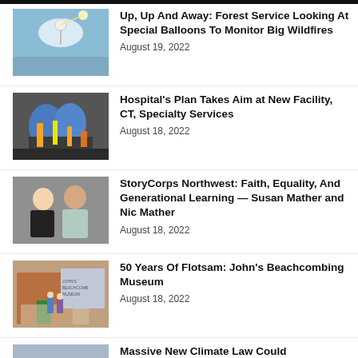[Figure (photo): A weather balloon against a bright sky]
Up, Up And Away: Forest Service Looking At Special Balloons To Monitor Big Wildfires
August 19, 2022
[Figure (photo): Large blue and yellow industrial tanks/equipment]
Hospital's Plan Takes Aim at New Facility, CT, Specialty Services
August 18, 2022
[Figure (photo): A woman and a man posing together, smiling]
StoryCorps Northwest: Faith, Equality, And Generational Learning — Susan Mather and Nic Mather
August 18, 2022
[Figure (photo): Outdoor scene with people standing in front of a barn-like building with collected items]
50 Years Of Flotsam: John's Beachcombing Museum
August 18, 2022
[Figure (photo): People posing near what appears to be large equipment]
Massive New Climate Law Could